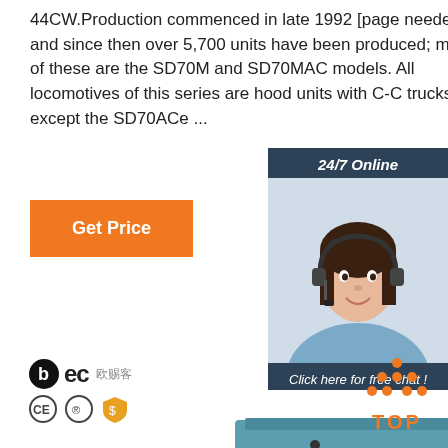44CW.Production commenced in late 1992 [page needed] and since then over 5,700 units have been produced; most of these are the SD70M and SD70MAC models. All locomotives of this series are hood units with C-C trucks, except the SD70ACe ...
[Figure (other): Orange 'Get Price' button]
[Figure (photo): Customer service agent wearing headset, 24/7 Online sidebar with chat and QUOTATION button]
[Figure (logo): BEC company logo with CE and certification marks]
[Figure (photo): Industrial machine in teal/blue color with spring and pneumatic components]
[Figure (other): Orange TOP badge with dot pattern arrow pointing up]